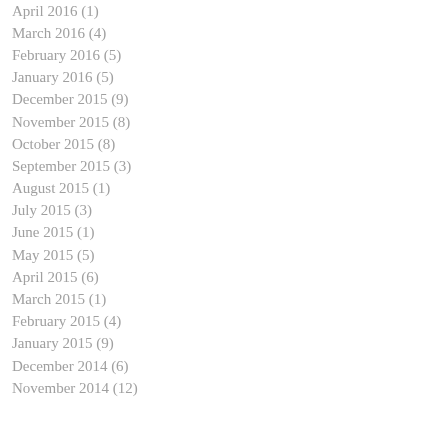April 2016 (1)
March 2016 (4)
February 2016 (5)
January 2016 (5)
December 2015 (9)
November 2015 (8)
October 2015 (8)
September 2015 (3)
August 2015 (1)
July 2015 (3)
June 2015 (1)
May 2015 (5)
April 2015 (6)
March 2015 (1)
February 2015 (4)
January 2015 (9)
December 2014 (6)
November 2014 (12)